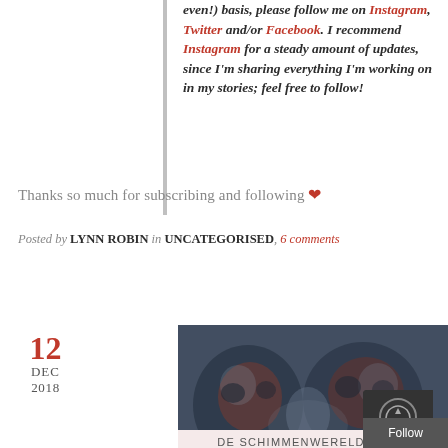even!) basis, please follow me on Instagram, Twitter and/or Facebook. I recommend Instagram for a steady amount of updates, since I'm sharing everything I'm working on in my stories; feel free to follow!
Thanks so much for subscribing and following ❤
Posted by LYNN ROBIN in UNCATEGORISED, 6 comments
12 DEC 2018
[Figure (photo): Dark atmospheric image showing skull-like shapes or stone textures in dark blue-grey tones with reddish-brown highlights. Title overlay reads DE SCHIMMENWERELD SERIE - NIEUWS -]